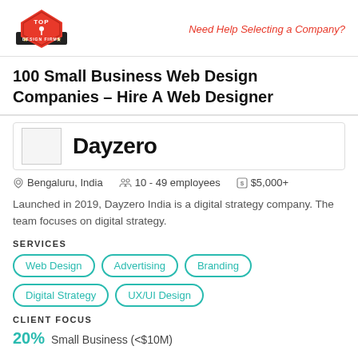Top Design Firms | Need Help Selecting a Company?
100 Small Business Web Design Companies – Hire A Web Designer
Dayzero
Bengaluru, India   10 - 49 employees   $5,000+
Launched in 2019, Dayzero India is a digital strategy company. The team focuses on digital strategy.
SERVICES
Web Design
Advertising
Branding
Digital Strategy
UX/UI Design
CLIENT FOCUS
20% Small Business (<$10M)